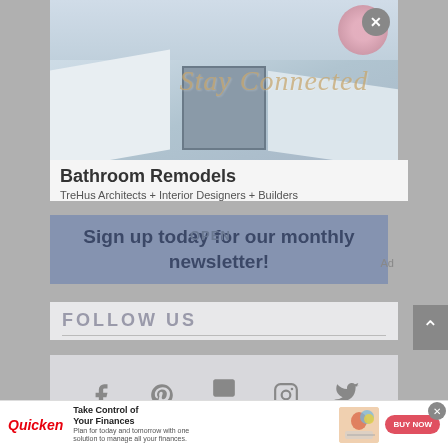[Figure (photo): Kitchen interior photo with white cabinets, marble countertops, stainless steel range, and pink flowers in a vase. 'Stay Connected' text overlaid in gold italic script.]
Bathroom Remodels
TreHus Architects + Interior Designers + Builders
Sign up today for our monthly newsletter!
OPEN
Ad
FOLLOW US
[Figure (infographic): Social media icons row: Facebook, Pinterest, Email, Instagram, Twitter]
[Figure (infographic): Quicken advertisement banner: 'Take Control of Your Finances' with BUY NOW button and woman working on laptop graphic]